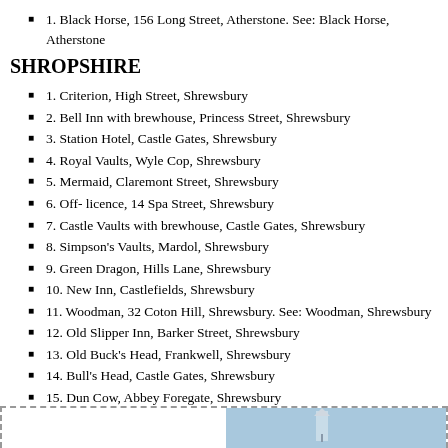1. Black Horse, 156 Long Street, Atherstone. See: Black Horse, Atherstone
SHROPSHIRE
1. Criterion, High Street, Shrewsbury
2. Bell Inn with brewhouse, Princess Street, Shrewsbury
3. Station Hotel, Castle Gates, Shrewsbury
4. Royal Vaults, Wyle Cop, Shrewsbury
5. Mermaid, Claremont Street, Shrewsbury
6. Off- licence, 14 Spa Street, Shrewsbury
7. Castle Vaults with brewhouse, Castle Gates, Shrewsbury
8. Simpson's Vaults, Mardol, Shrewsbury
9. Green Dragon, Hills Lane, Shrewsbury
10. New Inn, Castlefields, Shrewsbury
11. Woodman, 32 Coton Hill, Shrewsbury. See: Woodman, Shrewsbury
12. Old Slipper Inn, Barker Street, Shrewsbury
13. Old Buck's Head, Frankwell, Shrewsbury
14. Bull's Head, Castle Gates, Shrewsbury
15. Dun Cow, Abbey Foregate, Shrewsbury
[Figure (photo): Partial view of a building photograph at the bottom of the page, within a dashed border box]